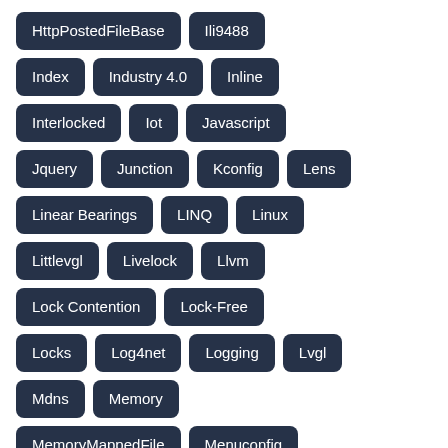HttpPostedFileBase
Ili9488
Index
Industry 4.0
Inline
Interlocked
Iot
Javascript
Jquery
Junction
Kconfig
Lens
Linear Bearings
LINQ
Linux
Littlevgl
Livelock
Llvm
Lock Contention
Lock-Free
Locks
Log4net
Logging
Lvgl
Mdns
Memory
MemoryMappedFile
Menuconfig
Merge
Microsoft
Mikrotik